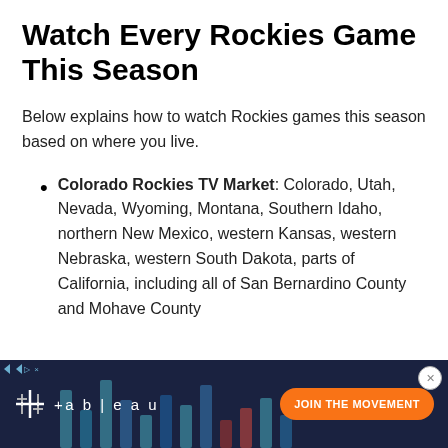Watch Every Rockies Game This Season
Below explains how to watch Rockies games this season based on where you live.
Colorado Rockies TV Market: Colorado, Utah, Nevada, Wyoming, Montana, Southern Idaho, northern New Mexico, western Kansas, western Nebraska, western South Dakota, parts of California, including all of San Bernardino County and Mohave County
[Figure (infographic): Tableau advertisement banner with dark navy background, Tableau logo on left, vertical bar chart visual in center, and orange 'JOIN THE MOVEMENT' CTA button on the right]